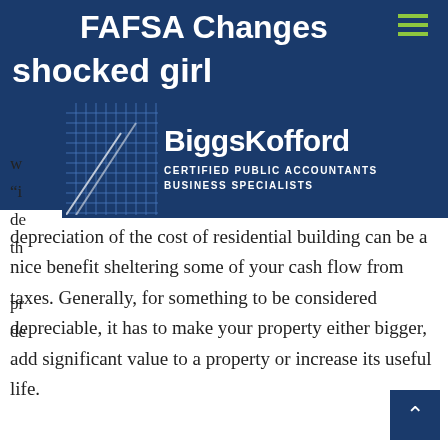FAFSA Changes
[Figure (logo): BiggsKofford Certified Public Accountants Business Specialists logo with grid pattern]
depreciation of the cost of residential building can be a nice benefit sheltering some of your cash flow from taxes. Generally, for something to be considered depreciable, it has to make your property either bigger, add significant value to a property or increase its useful life.